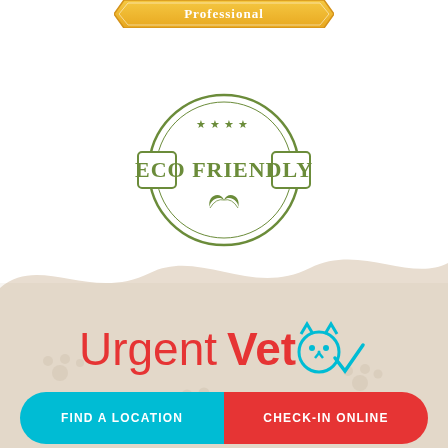[Figure (logo): Partial orange/gold 'Professional' banner badge at the top of the page, partially cropped]
[Figure (logo): ECO FRIENDLY circular green badge with stars at top, text 'ECO FRIENDLY' in bold serif, and two green leaves at the bottom]
[Figure (illustration): Sandy/beige wavy background shape covering the bottom portion of the page, with faint repeated pet icon watermarks]
[Figure (logo): UrgentVet logo: 'Urgent' in red, 'Vet' in red bold, followed by a cyan cartoon cat/dog face icon and a cyan checkmark/paw icon]
[Figure (infographic): Two-tone pill-shaped button bar: left half cyan with 'FIND A LOCATION', right half red with 'CHECK-IN ONLINE']